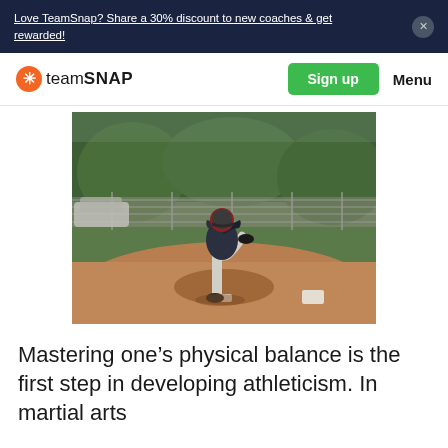Love TeamSnap? Share a 30% discount to new coaches & get rewarded!
[Figure (logo): TeamSnap logo with orange asterisk icon and wordmark 'teamSNAP']
[Figure (photo): Young baseball pitcher in wind-up position on a dirt mound, wearing dark jersey and gray pants, with chain-link fence and trees in background]
Mastering one’s physical balance is the first step in developing athleticism. In martial arts